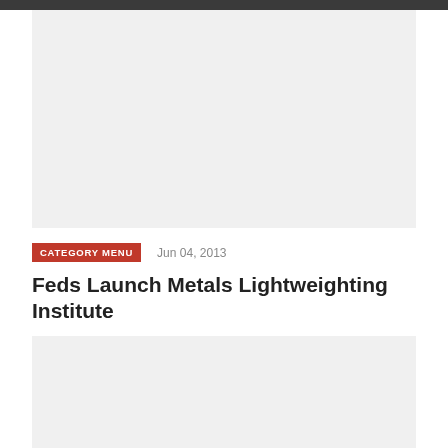[Figure (photo): Large image placeholder at the top of the article page]
CATEGORY MENU
Jun 04, 2013
Feds Launch Metals Lightweighting Institute
[Figure (photo): Image placeholder below the article title]